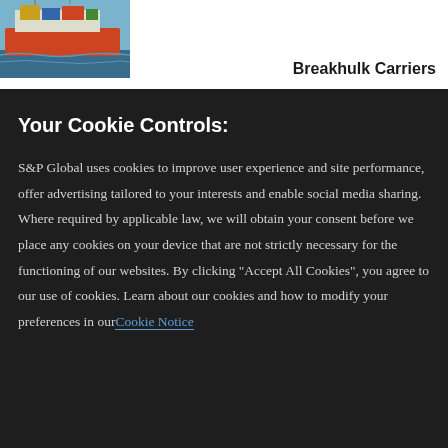[Figure (photo): Photograph of a large cargo/container ship on water, partially visible in upper left corner]
Breakhulk Carriers
Your Cookie Controls:
S&P Global uses cookies to improve user experience and site performance, offer advertising tailored to your interests and enable social media sharing. Where required by applicable law, we will obtain your consent before we place any cookies on your device that are not strictly necessary for the functioning of our websites. By clicking "Accept All Cookies", you agree to our use of cookies. Learn about our cookies and how to modify your preferences in our Cookie Notice